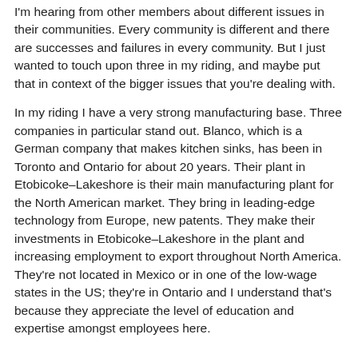I'm hearing from other members about different issues in their communities. Every community is different and there are successes and failures in every community. But I just wanted to touch upon three in my riding, and maybe put that in context of the bigger issues that you're dealing with.
In my riding I have a very strong manufacturing base. Three companies in particular stand out. Blanco, which is a German company that makes kitchen sinks, has been in Toronto and Ontario for about 20 years. Their plant in Etobicoke–Lakeshore is their main manufacturing plant for the North American market. They bring in leading-edge technology from Europe, new patents. They make their investments in Etobicoke–Lakeshore in the plant and increasing employment to export throughout North America. They're not located in Mexico or in one of the low-wage states in the US; they're in Ontario and I understand that's because they appreciate the level of education and expertise amongst employees here.